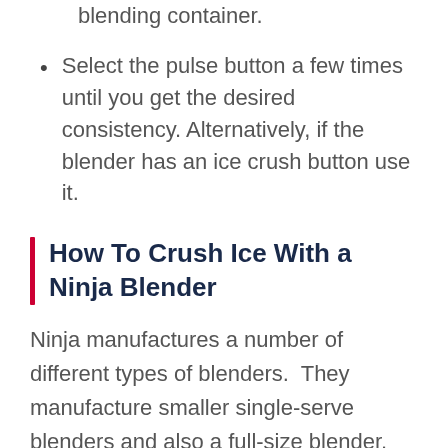Fill the blender up to ¾ of the blending container.
Select the pulse button a few times until you get the desired consistency. Alternatively, if the blender has an ice crush button use it.
How To Crush Ice With a Ninja Blender
Ninja manufactures a number of different types of blenders. They manufacture smaller single-serve blenders and also a full-size blender. Keep in mind the single-serve blenders usually have less blending power.